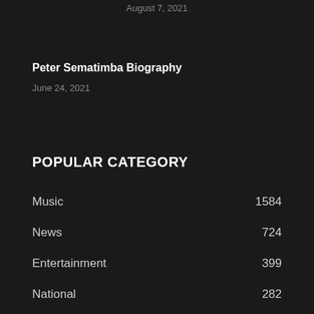August 7, 2021
Peter Sematimba Biography
June 24, 2021
POPULAR CATEGORY
Music 1584
News 724
Entertainment 399
National 282
Politics 109
Sports 97